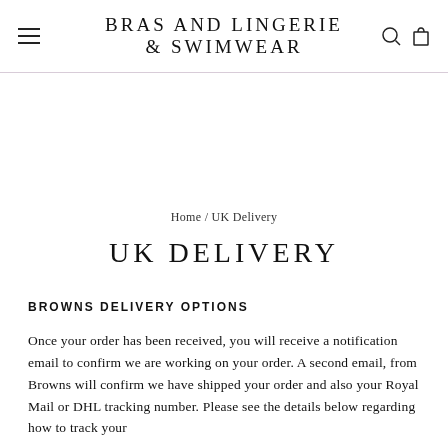BRAS AND LINGERIE & SWIMWEAR
Home / UK Delivery
UK DELIVERY
BROWNS DELIVERY OPTIONS
Once your order has been received, you will receive a notification email to confirm we are working on your order. A second email, from Browns will confirm we have shipped your order and also your Royal Mail or DHL tracking number. Please see the details below regarding how to track your